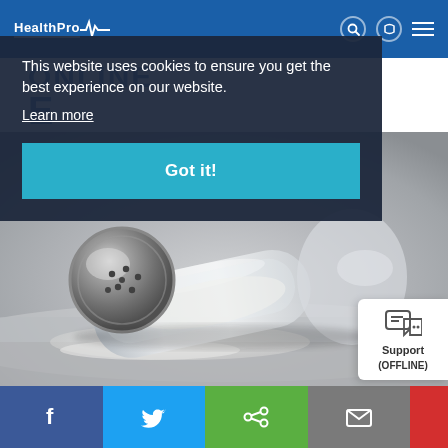HealthProx [logo with pulse line] — navigation icons
This website uses cookies to ensure you get the best experience on our website.
Learn more
Got it!
[Figure (photo): Close-up photograph of a silver salt shaker lying on its side on a white surface, with salt spilled around it. Background is blurred.]
Social sharing bar: Facebook, Twitter, Share, Email, and partial red button. Support (OFFLINE) widget.